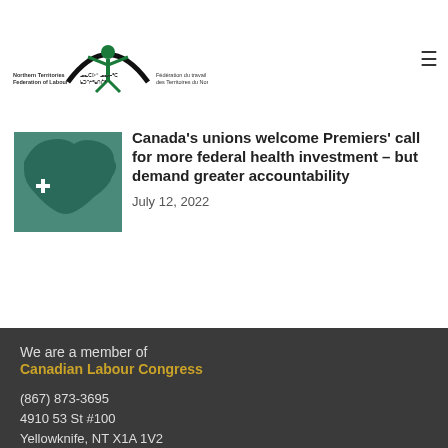[Figure (logo): Northern Territories Federation of Labour / Fédération du travail des Territoires du Nord logo with green figure and arc]
Canada's unions welcome Premiers' call for more federal health investment – but demand greater accountability
July 12, 2022
We are a member of
Canadian Labour Congress
(867) 873-3695
4910 53 St #100
Yellowknife, NT X1A 1V2